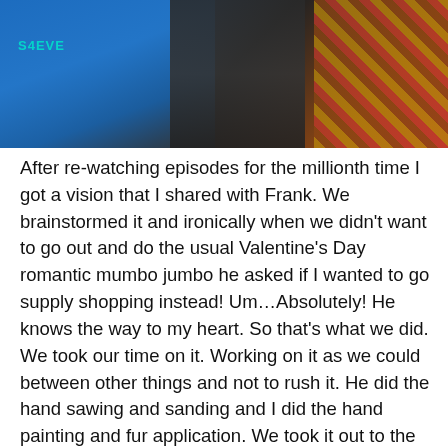[Figure (photo): Photo of a person wearing a dark t-shirt with tattoos visible on their arm, standing near blue t-shirts laid out on a table, with a patterned carpet floor visible to the right.]
After re-watching episodes for the millionth time I got a vision that I shared with Frank. We brainstormed it and ironically when we didn't want to go out and do the usual Valentine's Day romantic mumbo jumbo he asked if I wanted to go supply shopping instead! Um…Absolutely! He knows the way to my heart. So that's what we did. We took our time on it. Working on it as we could between other things and not to rush it. He did the hand sawing and sanding and I did the hand painting and fur application. We took it out to the woods to take some good photos of it and then mailed it off to Sam and his cryptid pals. We